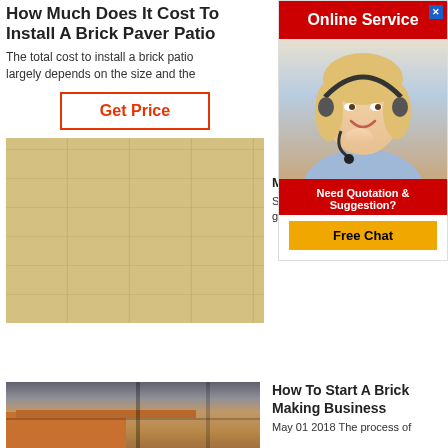How Much Does It Cost To Install A Brick Paver Patio
The total cost to install a brick patio largely depends on the size and the
Get Price
[Figure (photo): Close-up photo of stacked light-colored brick or stone blocks]
Mar
So e
guara
[Figure (screenshot): Online Service advertisement banner with woman wearing headset, red background, Free Chat button]
[Figure (photo): Photo of brick making facility with orange/tan bricks in foreground]
How To Start A Brick Making Business
May 01 2018  The process of